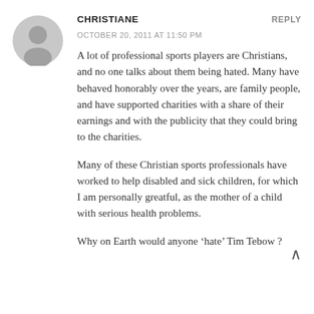CHRISTIANE
OCTOBER 20, 2011 AT 11:50 PM
A lot of professional sports players are Christians, and no one talks about them being hated. Many have behaved honorably over the years, are family people, and have supported charities with a share of their earnings and with the publicity that they could bring to the charities.
Many of these Christian sports professionals have worked to help disabled and sick children, for which I am personally greatful, as the mother of a child with serious health problems.
Why on Earth would anyone ‘hate’ Tim Tebow ?